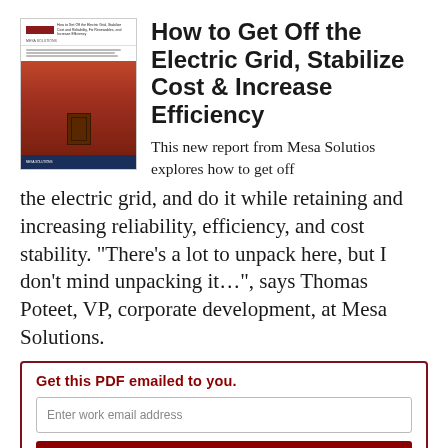[Figure (illustration): Thumbnail cover image of a Mesa Solutions report showing a brick building with a door, a company logo header, body text lines, and a dark blue footer bar.]
How to Get Off the Electric Grid, Stabilize Cost & Increase Efficiency
This new report from Mesa Solutios explores how to get off the electric grid, and do it while retaining and increasing reliability, efficiency, and cost stability. “There’s a lot to unpack here, but I don’t mind unpacking it…”, says Thomas Poteet, VP, corporate development, at Mesa Solutions.
Get this PDF emailed to you.
Enter work email address